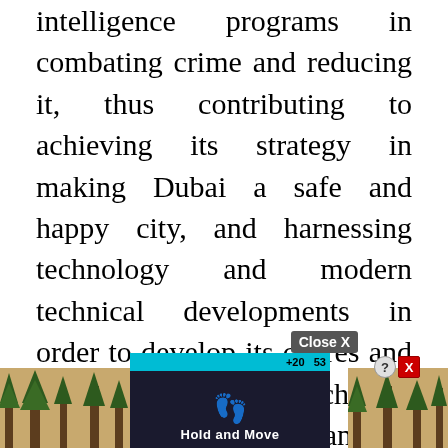intelligence programs in combating crime and reducing it, thus contributing to achieving its strategy in making Dubai a safe and happy city, and harnessing technology and modern technical developments in order to develop its cadres and achieve its goals, which was reflected in the The tangible development in performance over many years of continuous and diligent work, and made Dubai Police a role model in professional police work, in addition to developing and updating field work methods based on continuing education, providing distinguished services to customers, and enhancing communication with human resou... ler to reduc... s and